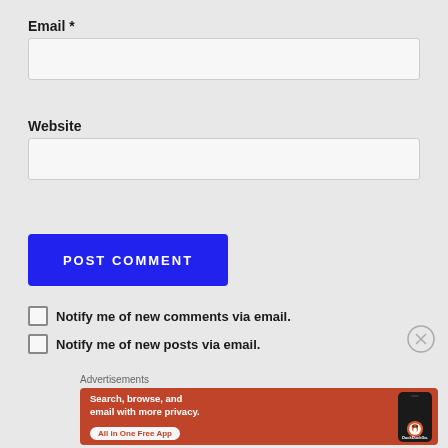Email *
Website
POST COMMENT
Notify me of new comments via email.
Notify me of new posts via email.
Advertisements
[Figure (screenshot): DuckDuckGo advertisement banner: orange background with text 'Search, browse, and email with more privacy. All in One Free App' next to a phone image with DuckDuckGo logo]